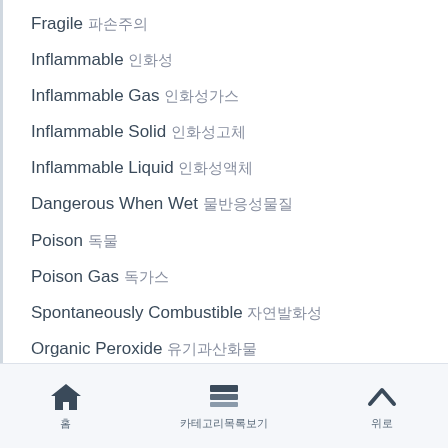Fragile 파손주의
Inflammable 인화성
Inflammable Gas 인화성가스
Inflammable Solid 인화성고체
Inflammable Liquid 인화성액체
Dangerous When Wet 물반응성물질
Poison 독물
Poison Gas 독가스
Spontaneously Combustible 자연발화성
Organic Peroxide 유기과산화물
Oxidizing Agent 산화제
홈 | 카테고리목록보기 | 위로